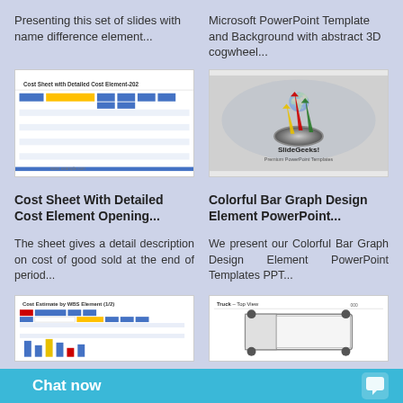Presenting this set of slides with name difference element...
Microsoft PowerPoint Template and Background with abstract 3D cogwheel...
[Figure (screenshot): Thumbnail of Cost Sheet with Detailed Cost Element-202 spreadsheet slide]
[Figure (screenshot): Thumbnail of SlideGeeks Premium PowerPoint Templates with colorful 3D arrows on world map background]
Cost Sheet With Detailed Cost Element Opening...
Colorful Bar Graph Design Element PowerPoint...
The sheet gives a detail description on cost of good sold at the end of period...
We present our Colorful Bar Graph Design Element PowerPoint Templates PPT...
[Figure (screenshot): Thumbnail of Cost Estimate by WBS Element (1/2) slide]
[Figure (screenshot): Thumbnail of Truck - Top View diagram slide]
Chat now